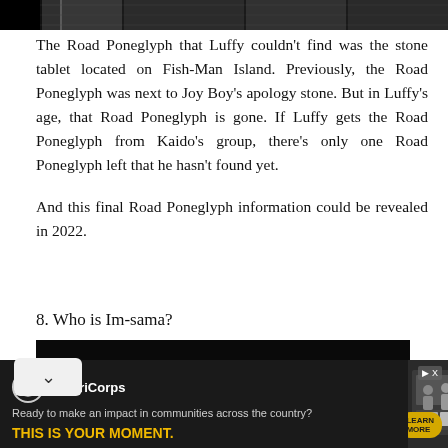[Figure (illustration): Partial manga/comic artwork strip at the top of the page, black and white with intricate character illustrations]
The Road Poneglyph that Luffy couldn't find was the stone tablet located on Fish-Man Island. Previously, the Road Poneglyph was next to Joy Boy's apology stone. But in Luffy's age, that Road Poneglyph is gone. If Luffy gets the Road Poneglyph from Kaido's group, there's only one Road Poneglyph left that he hasn't found yet.
And this final Road Poneglyph information could be revealed in 2022.
8. Who is Im-sama?
[Figure (screenshot): Dark image, partially visible, appears to be an anime scene with a crescent or arc shape visible in lower portion. A chevron/down arrow button overlay is present on the left side.]
[Figure (infographic): AmeriCorps advertisement banner. Logo with circular icon on left, text reading 'AmeriCorps', tagline 'Ready to make an impact in communities across the country?', CTA 'THIS IS YOUR MOMENT.' in yellow/gold. Learn More button. Photo of people on right side. Skip ad button in top right.]